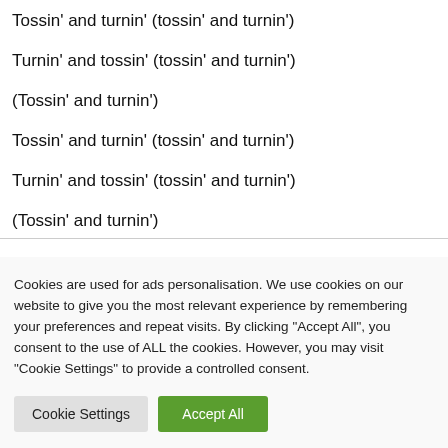Tossin' and turnin' (tossin' and turnin')
Turnin' and tossin' (tossin' and turnin')
(Tossin' and turnin')
Tossin' and turnin' (tossin' and turnin')
Turnin' and tossin' (tossin' and turnin')
(Tossin' and turnin')
Cookies are used for ads personalisation. We use cookies on our website to give you the most relevant experience by remembering your preferences and repeat visits. By clicking "Accept All", you consent to the use of ALL the cookies. However, you may visit "Cookie Settings" to provide a controlled consent.